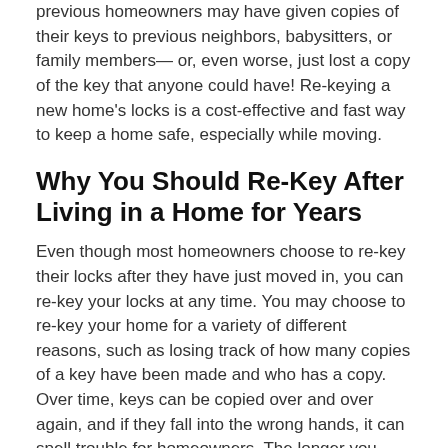previous homeowners may have given copies of their keys to previous neighbors, babysitters, or family members— or, even worse, just lost a copy of the key that anyone could have! Re-keying a new home's locks is a cost-effective and fast way to keep a home safe, especially while moving.
Why You Should Re-Key After Living in a Home for Years
Even though most homeowners choose to re-key their locks after they have just moved in, you can re-key your locks at any time. You may choose to re-key your home for a variety of different reasons, such as losing track of how many copies of a key have been made and who has a copy. Over time, keys can be copied over and over again, and if they fall into the wrong hands, it can spell trouble for homeowners. The longer you have the same set of keys, the more likely it is that copies of that key have wandered off and been lost. It's always a good idea to give your locks a refresh every once in a while, for safety's sake.
Re-Keying a Lock that is Aging